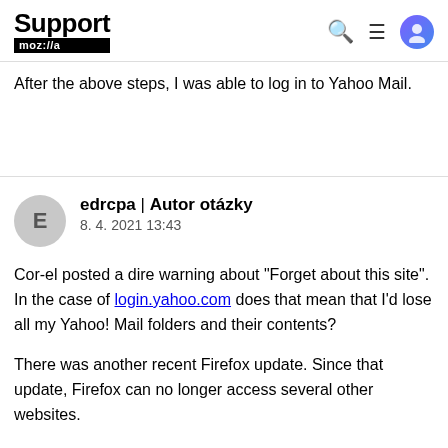Support moz://a
After the above steps, I was able to log in to Yahoo Mail.
edrcpa | Autor otázky
8. 4. 2021 13:43
Cor-el posted a dire warning about "Forget about this site". In the case of login.yahoo.com does that mean that I'd lose all my Yahoo! Mail folders and their contents?

There was another recent Firefox update. Since that update, Firefox can no longer access several other websites.